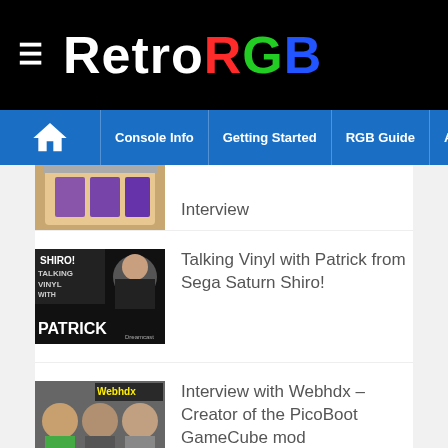RetroRGB
Console Info | Getting Started | RGB Guide | Advanced RGB Info | Ab
[Figure (photo): Partial photo of a clear SNES console case with cartridges visible]
Interview
[Figure (photo): Thumbnail image showing 'SHIRO! Talking Vinyl with Patrick' with a man wearing glasses and headphones on black background]
Talking Vinyl with Patrick from Sega Saturn Shiro!
[Figure (photo): Thumbnail showing three people with microphones and 'Webhdx' text overlay]
Interview with Webhdx – Creator of the PicoBoot GameCube mod